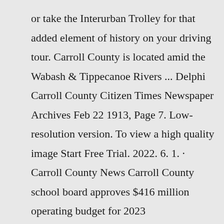or take the Interurban Trolley for that added element of history on your driving tour. Carroll County is located amid the Wabash & Tippecanoe Rivers ... Delphi Carroll County Citizen Times Newspaper Archives Feb 22 1913, Page 7. Low-resolution version. To view a high quality image Start Free Trial. 2022. 6. 1. · Carroll County News Carroll County school board approves $416 million operating budget for 2023